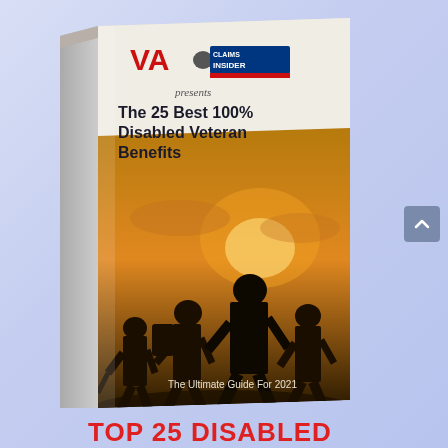[Figure (illustration): 3D book cover for 'The 25 Best 100% Disabled Veteran Benefits - The Ultimate Guide For 2021' published by VA Claims Insider. The cover shows silhouettes of soldiers walking against a dramatic sunset sky. The book is shown at an angle with a spine visible on the left.]
TOP 25 DISABLED